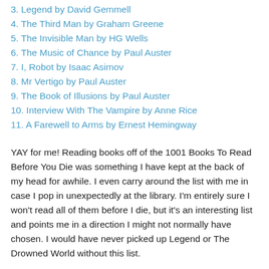3. Legend by David Gemmell
4. The Third Man by Graham Greene
5. The Invisible Man by HG Wells
6. The Music of Chance by Paul Auster
7. I, Robot by Isaac Asimov
8. Mr Vertigo by Paul Auster
9. The Book of Illusions by Paul Auster
10. Interview With The Vampire by Anne Rice
11. A Farewell to Arms by Ernest Hemingway
YAY for me! Reading books off of the 1001 Books To Read Before You Die was something I have kept at the back of my head for awhile. I even carry around the list with me in case I pop in unexpectedly at the library. I'm entirely sure I won't read all of them before I die, but it's an interesting list and points me in a direction I might not normally have chosen. I would have never picked up Legend or The Drowned World without this list.
But there is such a thing as too much. I read 6 of these books in one month and it was overload. I got to where I